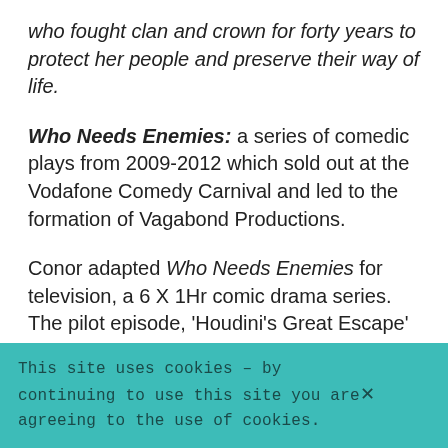who fought clan and crown for forty years to protect her people and preserve their way of life.
Who Needs Enemies: a series of comedic plays from 2009-2012 which sold out at the Vodafone Comedy Carnival and led to the formation of Vagabond Productions.
Conor adapted Who Needs Enemies for television, a 6 X 1Hr comic drama series. The pilot episode, 'Houdini's Great Escape' was shot on location in Galway in January 2012.
This site uses cookies – by continuing to use this site you are agreeing to the use of cookies.